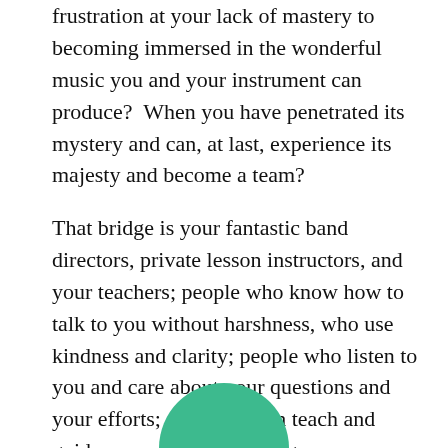frustration at your lack of mastery to becoming immersed in the wonderful music you and your instrument can produce?  When you have penetrated its mystery and can, at last, experience its majesty and become a team?
That bridge is your fantastic band directors, private lesson instructors, and your teachers; people who know how to talk to you without harshness, who use kindness and clarity; people who listen to you and care about your questions and your efforts; ones who can teach and guide you without belittling you or discouraging your efforts.
[Figure (illustration): A teal/green semicircle shape at the bottom center of the page, appearing to be decorative.]